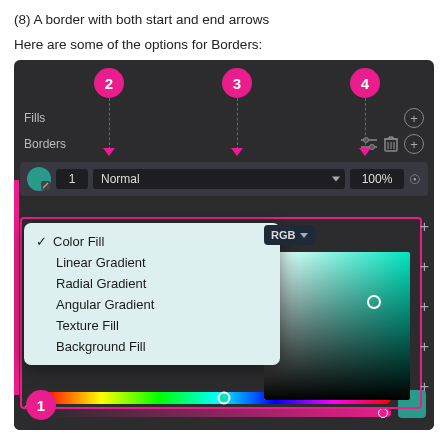(8) A border with both start and end arrows
Here are some of the options for Borders:
[Figure (screenshot): UI screenshot of a design tool showing Fills and Borders panels with a color fill dropdown menu open, showing options: Color Fill (checked), Linear Gradient, Radial Gradient, Angular Gradient, Texture Fill, Background Fill. Annotated with numbered pink circles 1-4 pointing to UI elements.]